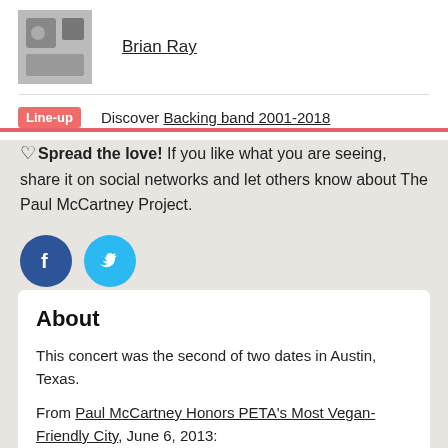[Figure (photo): Photo of Brian Ray, a musician]
Brian Ray
Line-up  Discover Backing band 2001-2018
♡ Spread the love! If you like what you are seeing, share it on social networks and let others know about The Paul McCartney Project.
[Figure (illustration): Facebook and Twitter social share buttons (circular icons)]
About
This concert was the second of two dates in Austin, Texas.
From Paul McCartney Honors PETA's Most Vegan-Friendly City, June 6, 2013: